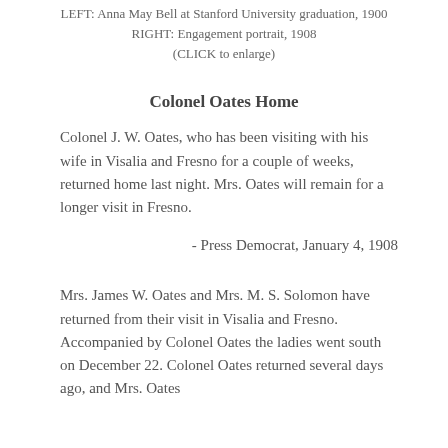LEFT: Anna May Bell at Stanford University graduation, 1900
RIGHT: Engagement portrait, 1908
(CLICK to enlarge)
Colonel Oates Home
Colonel J. W. Oates, who has been visiting with his wife in Visalia and Fresno for a couple of weeks, returned home last night. Mrs. Oates will remain for a longer visit in Fresno.
- Press Democrat, January 4, 1908
Mrs. James W. Oates and Mrs. M. S. Solomon have returned from their visit in Visalia and Fresno. Accompanied by Colonel Oates the ladies went south on December 22. Colonel Oates returned several days ago, and Mrs. Oates